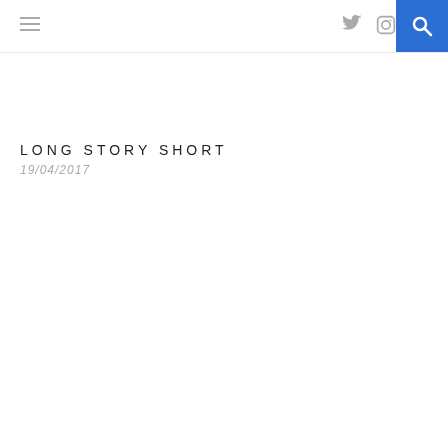navigation bar with hamburger menu, Twitter icon, Instagram icon, and search button
LONG STORY SHORT
19/04/2017